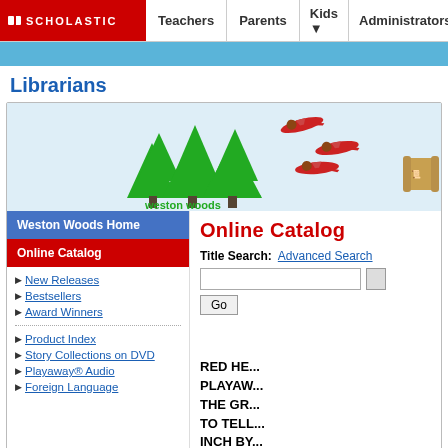[Figure (screenshot): Scholastic website navigation bar with logo and links: Teachers, Parents, Kids, Administrators]
[Figure (illustration): Weston Woods website banner with green pine trees logo and animated planes with characters flying]
Librarians
Weston Woods Home
Online Catalog
New Releases
Bestsellers
Award Winners
Product Index
Story Collections on DVD
Playaway® Audio
Foreign Language
Online Catalog
Title Search:
Advanced Search
Go
RED HE... PLAYAW... THE GR... TO TELL... INCH BY... SIMPLY...